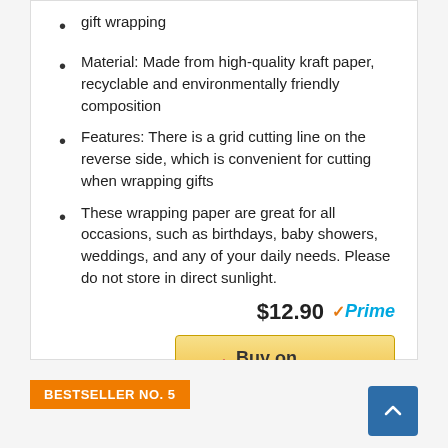gift wrapping
Material: Made from high-quality kraft paper, recyclable and environmentally friendly composition
Features: There is a grid cutting line on the reverse side, which is convenient for cutting when wrapping gifts
These wrapping paper are great for all occasions, such as birthdays, baby showers, weddings, and any of your daily needs. Please do not store in direct sunlight.
$12.90 Prime
Buy on Amazon
BESTSELLER NO. 5